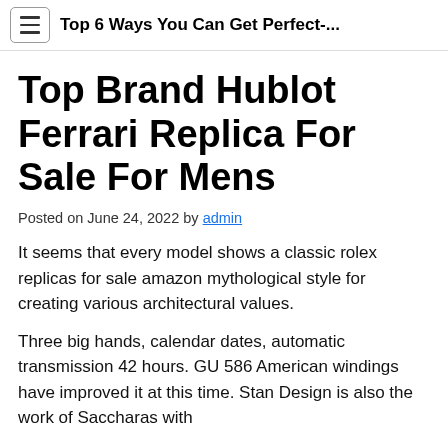Top 6 Ways You Can Get Perfect-...
Top Brand Hublot Ferrari Replica For Sale For Mens
Posted on June 24, 2022 by admin
It seems that every model shows a classic rolex replicas for sale amazon mythological style for creating various architectural values.
Three big hands, calendar dates, automatic transmission 42 hours. GU 586 American windings have improved it at this time. Stan Design is also the work of Saccharas with